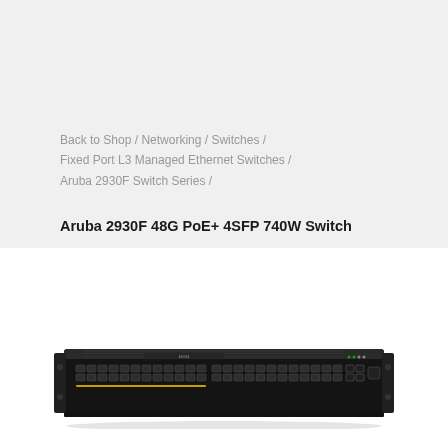Back to Shop  /  Networking  /  Switches  /  Fixed Port L3 Managed Ethernet Switches  /  Aruba 2930F Switch Series  /
Aruba 2930F 48G PoE+ 4SFP 740W Switch
[Figure (photo): Photo of the Aruba 2930F 48G PoE+ 4SFP 740W network switch, a 1U rack-mount unit with a black chassis showing 48 RJ45 ports and SFP uplink ports on the front panel.]